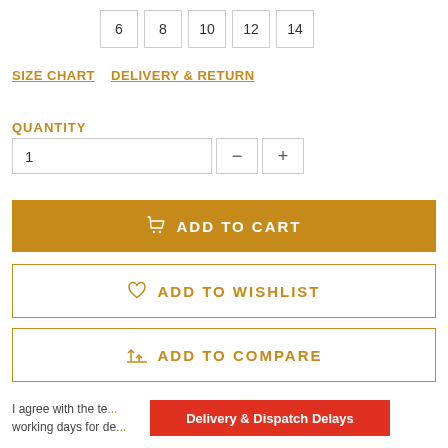6  8  10  12  14
SIZE CHART   DELIVERY & RETURN
QUANTITY
1
ADD TO CART
ADD TO WISHLIST
ADD TO COMPARE
I agree with the te... to 14-21 working days for de... kes. We DO
Delivery & Dispatch Delays